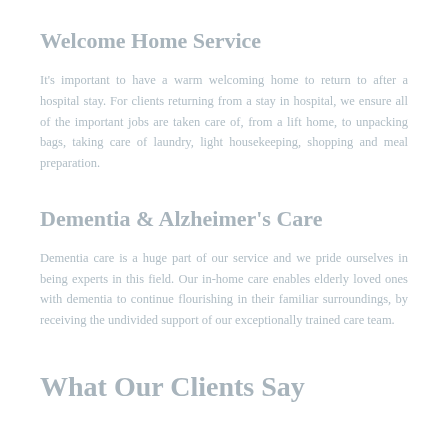Welcome Home Service
It's important to have a warm welcoming home to return to after a hospital stay. For clients returning from a stay in hospital, we ensure all of the important jobs are taken care of, from a lift home, to unpacking bags, taking care of laundry, light housekeeping, shopping and meal preparation.
Dementia & Alzheimer's Care
Dementia care is a huge part of our service and we pride ourselves in being experts in this field. Our in-home care enables elderly loved ones with dementia to continue flourishing in their familiar surroundings, by receiving the undivided support of our exceptionally trained care team.
What Our Clients Say